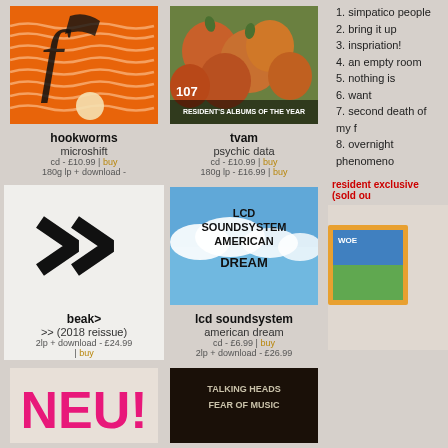[Figure (illustration): Hookworms - Microshift album cover, orange with wavy lines and black shapes]
hookworms
microshift
cd - £10.99 | buy
180g lp + download -
[Figure (photo): TVAM - Psychic Data album cover showing apples with text Resident's Albums of the Year]
tvam
psychic data
cd - £10.99 | buy
180g lp - £16.99 | buy
1. simpatico people
2. bring it up
3. inspriation!
4. an empty room
5. nothing is
6. want
7. second death of my f
8. overnight phenomeno
resident exclusive (sold ou
[Figure (photo): Beak> album cover showing double chevron arrows on white background]
beak>
>> (2018 reissue)
2lp + download - £24.99
| buy
[Figure (illustration): LCD Soundsystem American Dream album cover with blue sky and clouds]
lcd soundsystem
american dream
cd - £6.99 | buy
2lp + download - £26.99
[Figure (photo): Red vinyl records with colorful album artwork for resident exclusive]
[Figure (photo): NEU! album cover with pink logo]
[Figure (photo): Talking Heads Fear of Music album cover, black]